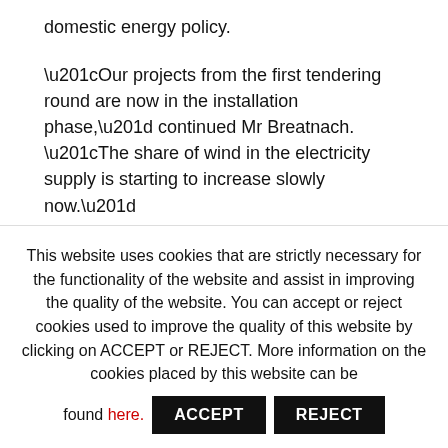domestic energy policy.
“Our projects from the first tendering round are now in the installation phase,” continued Mr Breatnach. “The share of wind in the electricity supply is starting to increase slowly now.”
Siemens Games pointed out that the current dynamics in the wind market threaten to be of limited duration. This is due to comparatively strict regulations regarding the distance between turbines and surrounding housing or protected
This website uses cookies that are strictly necessary for the functionality of the website and assist in improving the quality of the website. You can accept or reject cookies used to improve the quality of this website by clicking on ACCEPT or REJECT. More information on the cookies placed by this website can be found here.